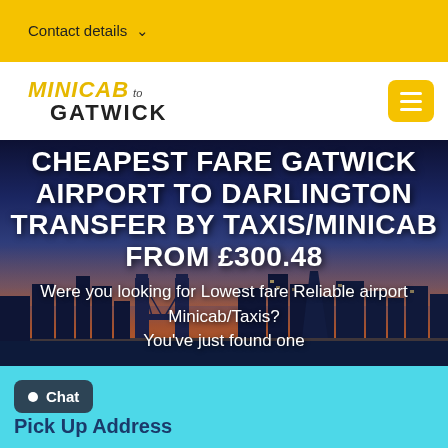Contact details ∨
MINICAB to GATWICK
[Figure (photo): London skyline at dusk/night with Tower Bridge and modern buildings in background, used as hero background image]
CHEAPEST FARE GATWICK AIRPORT TO DARLINGTON TRANSFER BY TAXIS/MINICAB FROM £300.48
Were you looking for Lowest fare Reliable airport Minicab/Taxis? You've just found one
Chat
Pick Up Address